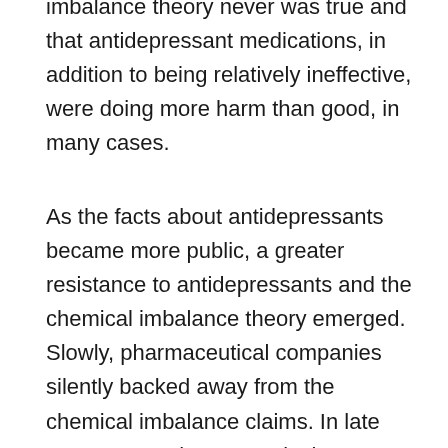imbalance theory never was true and that antidepressant medications, in addition to being relatively ineffective, were doing more harm than good, in many cases.
As the facts about antidepressants became more public, a greater resistance to antidepressants and the chemical imbalance theory emerged. Slowly, pharmaceutical companies silently backed away from the chemical imbalance claims. In late 2010, many pharmaceutical company websites began eliminating direct references to the chemical imbalance notion. This was the first subtle admission that a chemical imbalance cause for mental illness wasn't true.